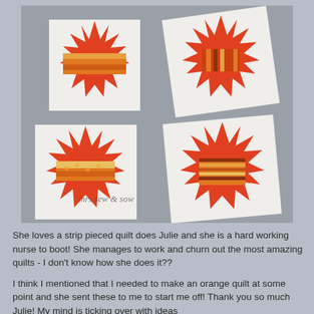[Figure (photo): Four red and white star quilt blocks arranged on a gray surface. Each block features orange and red star points with strip-pieced fabric centers. Watermark text reads 'mrs sew & sow' in the lower left of the photo.]
She loves a strip pieced quilt does Julie and she is a hard working nurse to boot!  She manages to work and churn out the most amazing quilts - I don't know how she does it??
I think I mentioned that I needed to make an orange quilt at some point and she sent these to me to start me off!  Thank you so much Julie!  My mind is ticking over with ideas